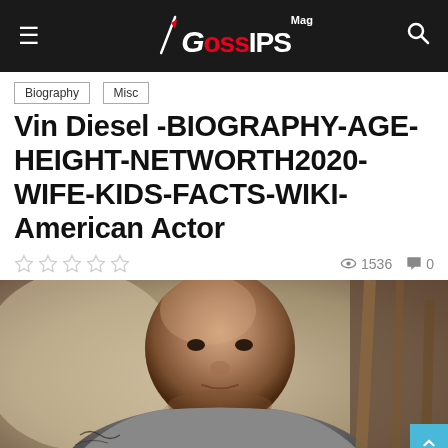Gossips Mag
Biography
Misc
Vin Diesel -BIOGRAPHY-AGE-HEIGHT-NETWORTH2020-WIFE-KIDS-FACTS-WIKI-American Actor
★★★★★  👁 1536  💬 0
[Figure (photo): Photo of Vin Diesel, American actor, shown from torso up wearing a grey t-shirt with tattoos visible on his arm, against a blurred outdoor background. Gossips Mag watermark in lower left corner.]